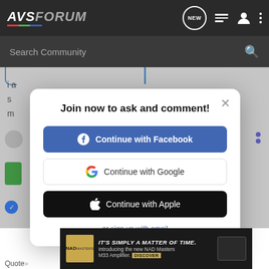[Figure (screenshot): AVSForum website navigation bar with logo, search bar, and modal dialog asking users to join and sign in with Facebook, Google, or Apple]
AVS FORUM
Search Community
Join now to ask and comment!
Continue with Facebook
Continue with Google
Continue with Apple
or sign up with email
[Figure (advertisement): NAD Masters M33 Amplifier advertisement banner: IT'S SIMPLY A MATTER OF TIME. Introducing the new NAD Masters M33 Amplifier. DISCOVER]